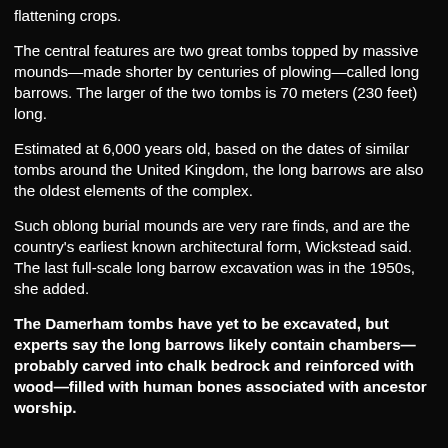flattening crops.
The central features are two great tombs topped by massive mounds—made shorter by centuries of plowing—called long barrows. The larger of the two tombs is 70 meters (230 feet) long.
Estimated at 6,000 years old, based on the dates of similar tombs around the United Kingdom, the long barrows are also the oldest elements of the complex.
Such oblong burial mounds are very rare finds, and are the country's earliest known architectural form, Wickstead said. The last full-scale long barrow excavation was in the 1950s, she added.
The Damerham tombs have yet to be excavated, but experts say the long barrows likely contain chambers—probably carved into chalk bedrock and reinforced with wood—filled with human bones associated with ancestor worship.